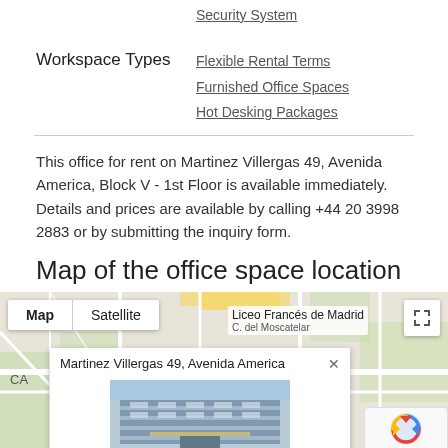Security System
Workspace Types
Flexible Rental Terms
Furnished Office Spaces
Hot Desking Packages
This office for rent on Martinez Villergas 49, Avenida America, Block V - 1st Floor is available immediately. Details and prices are available by calling +44 20 3998 2883 or by submitting the inquiry form.
Map of the office space location
[Figure (map): Google Map showing Martinez Villergas 49, Avenida America location with Map/Satellite toggle, a popup showing the address with a building photo, and reCAPTCHA badge.]